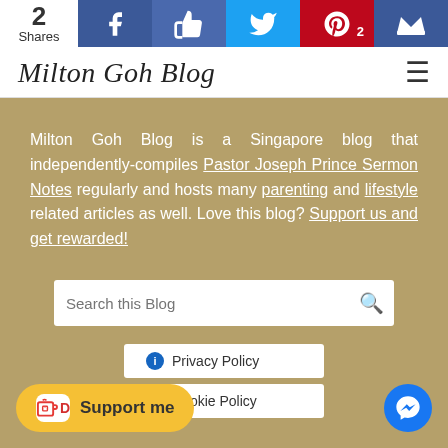[Figure (screenshot): Social share bar with 2 shares count, Facebook, Like, Twitter, Pinterest (2), and crown icons]
Milton Goh Blog
Milton Goh Blog is a Singapore blog that independently-compiles Pastor Joseph Prince Sermon Notes regularly and hosts many parenting and lifestyle related articles as well. Love this blog? Support us and get rewarded!
[Figure (screenshot): Search this Blog input box with search icon]
[Figure (screenshot): Privacy Policy button]
[Figure (screenshot): Cookie Policy button]
[Figure (screenshot): Support me Ko-fi button]
[Figure (screenshot): Facebook Messenger floating button]